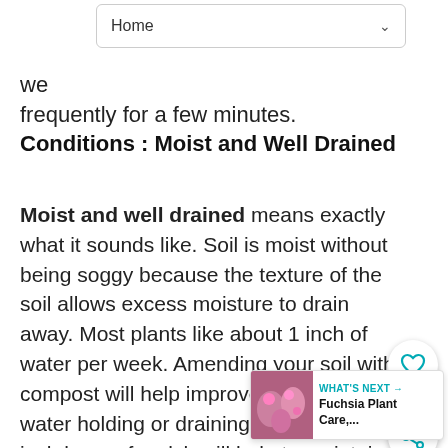Home
we frequently for a few minutes.
Conditions : Moist and Well Drained
Moist and well drained means exactly what it sounds like. Soil is moist without being soggy because the texture of the soil allows excess moisture to drain away. Most plants like about 1 inch of water per week. Amending your soil with compost will help improve texture and water holding or draining capacity. A 3 inch layer of mulch will help to maintain soil moisture and studies have shown that mulched plants grow faster than non-mulched plants.